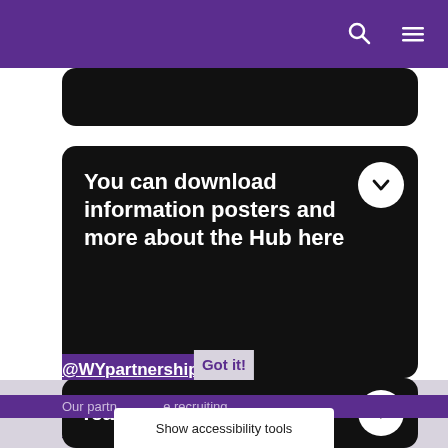Navigation bar with search and menu icons
You can download information posters and more about the Hub here
Team coaching offers
This website uses cookies to ensure you get the best experience on our website.
Learn more
@WYpartnership
Our partn... recruiting
Got it!
Show accessibility tools